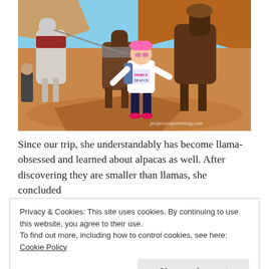[Figure (photo): A young girl wearing a pink hat and backpack stands between llamas/alpacas in a desert landscape. The scene is outdoors with red rocky terrain. A watermark reads 'projectsinparenting.com'.]
Since our trip, she understandably has become llama-obsessed and learned about alpacas as well. After discovering they are smaller than llamas, she concluded
Privacy & Cookies: This site uses cookies. By continuing to use this website, you agree to their use.
To find out more, including how to control cookies, see here: Cookie Policy
Close and accept